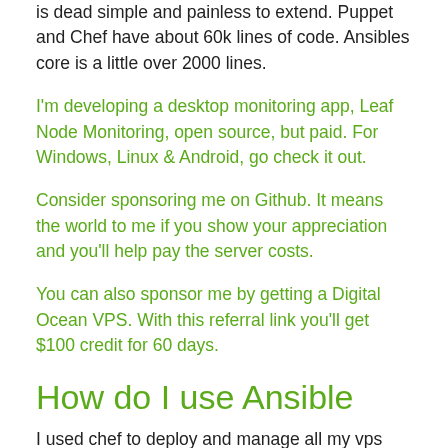is dead simple and painless to extend. Puppet and Chef have about 60k lines of code. Ansibles core is a little over 2000 lines.
I'm developing a desktop monitoring app, Leaf Node Monitoring, open source, but paid. For Windows, Linux & Android, go check it out.
Consider sponsoring me on Github. It means the world to me if you show your appreciation and you'll help pay the server costs.
You can also sponsor me by getting a Digital Ocean VPS. With this referral link you'll get $100 credit for 60 days.
How do I use Ansible
I used chef to deploy and manage all my vps servers which host the cluster on which raymii.org is hosted. I've written